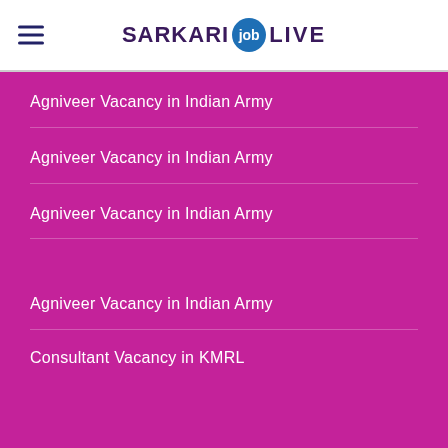SARKARI job LIVE
Agniveer Vacancy in Indian Army
Agniveer Vacancy in Indian Army
Agniveer Vacancy in Indian Army
Agniveer Vacancy in Indian Army
Consultant Vacancy in KMRL